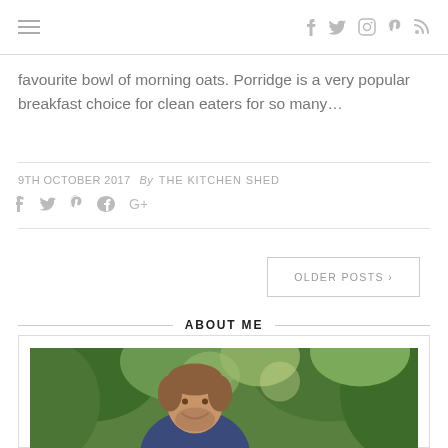Navigation header with hamburger menu and social icons (Facebook, Twitter, Instagram, Pinterest, RSS)
favourite bowl of morning oats. Porridge is a very popular breakfast choice for clean eaters for so many…
9TH OCTOBER 2017 By THE KITCHEN SHED
Social share icons: Facebook, Twitter, Pinterest, Google+
OLDER POSTS ›
ABOUT ME
[Figure (photo): Outdoor photo of a smiling man with beard, surrounded by green foliage and trees in a garden setting]